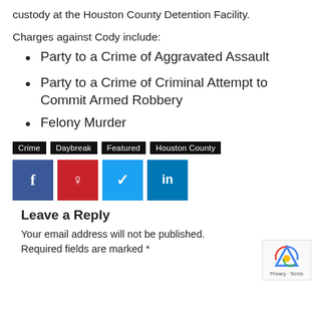custody at the Houston County Detention Facility.
Charges against Cody include:
Party to a Crime of Aggravated Assault
Party to a Crime of Criminal Attempt to Commit Armed Robbery
Felony Murder
Crime  Daybreak  Featured  Houston County
[Figure (other): Social media share buttons: Facebook (blue), Pinterest (red), Twitter (light blue), LinkedIn (blue)]
Leave a Reply
Your email address will not be published. Required fields are marked *